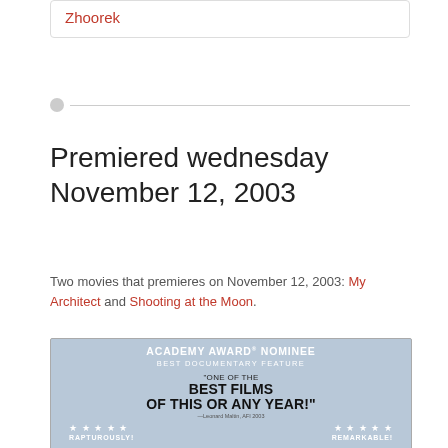Zhoorek
Premiered wednesday November 12, 2003
Two movies that premieres on November 12, 2003: My Architect and Shooting at the Moon.
[Figure (photo): Movie poster for My Architect showing Academy Award Nominee for Best Documentary Feature with quote 'One of the Best Films of This or Any Year!' with star ratings and labels RAPTUROUSLY and REMARKABLE!]